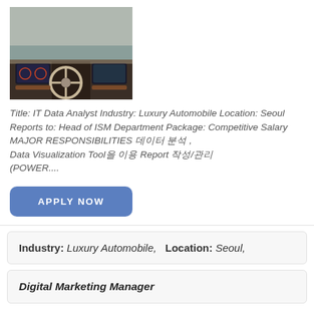[Figure (photo): Car interior photo showing steering wheel, dashboard, and infotainment screens of a luxury automobile]
Title: IT Data Analyst Industry: Luxury Automobile Location: Seoul Reports to: Head of ISM Department Package: Competitive Salary MAJOR RESPONSIBILITIES 데이터 분석, Data Visualization Tool을 이용 Report 작성/관리 (POWER....
APPLY NOW
Industry: Luxury Automobile,  Location: Seoul,
Digital Marketing Manager